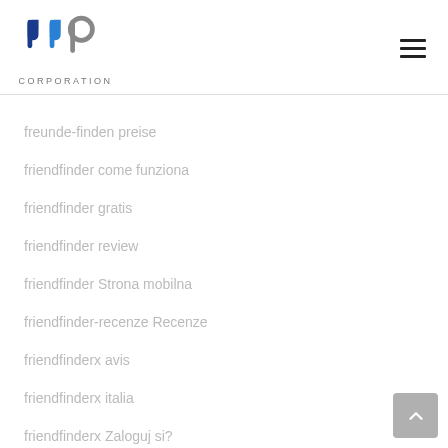bbp CORPORATION
freunde-finden preise
friendfinder come funziona
friendfinder gratis
friendfinder review
friendfinder Strona mobilna
friendfinder-recenze Recenze
friendfinderx avis
friendfinderx italia
friendfinderx Zaloguj si?